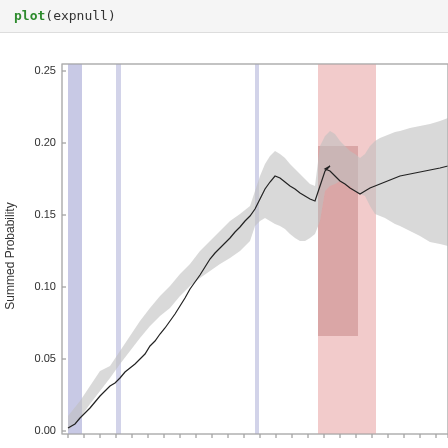plot(expnull)
[Figure (continuous-plot): Time series line chart showing Summed Probability on y-axis (0.00 to 0.25+). A black line shows the central estimate with a grey confidence band. Blue vertical shaded regions appear near the start, and a pink/red shaded vertical region appears near the right portion of the chart. The line trends upward from near 0 to around 0.15-0.20.]